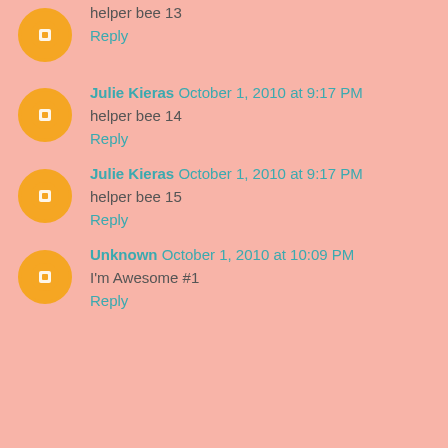helper bee 13
Reply
Julie Kieras  October 1, 2010 at 9:17 PM
helper bee 14
Reply
Julie Kieras  October 1, 2010 at 9:17 PM
helper bee 15
Reply
Unknown  October 1, 2010 at 10:09 PM
I'm Awesome #1
Reply